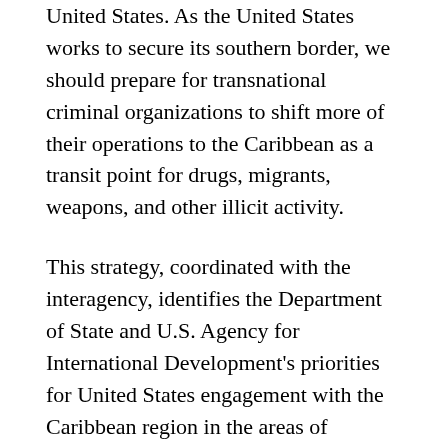United States. As the United States works to secure its southern border, we should prepare for transnational criminal organizations to shift more of their operations to the Caribbean as a transit point for drugs, migrants, weapons, and other illicit activity.
This strategy, coordinated with the interagency, identifies the Department of State and U.S. Agency for International Development's priorities for United States engagement with the Caribbean region in the areas of security, diplomacy, prosperity, energy, education, and health. On security, we will work with our Caribbean partners to ensure ISIS is denied a foothold in the region, dismantle illicit trafficking networks, enhance maritime security, confront violent and organized crime, and increase the sharing of threat information among countries. Our diplomacy will both raise the political